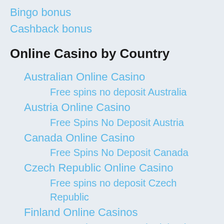Bingo bonus
Cashback bonus
Online Casino by Country
Australian Online Casino
Free spins no deposit Australia
Austria Online Casino
Free Spins No Deposit Austria
Canada Online Casino
Free Spins No Deposit Canada
Czech Republic Online Casino
Free spins no deposit Czech Republic
Finland Online Casinos
Free Spins No Deposit Finland
German Online Casino
Free Spins No Deposit German
Hungary Online Casinos
Free Spins No Deposit H...